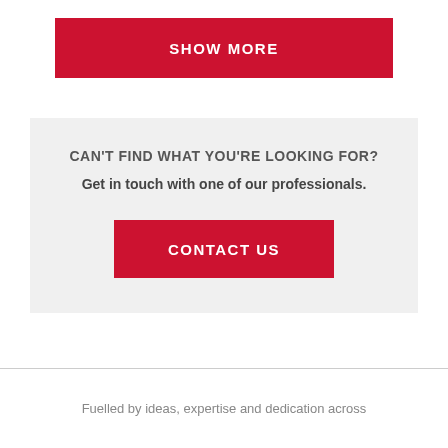SHOW MORE
CAN'T FIND WHAT YOU'RE LOOKING FOR?
Get in touch with one of our professionals.
CONTACT US
Fuelled by ideas, expertise and dedication across